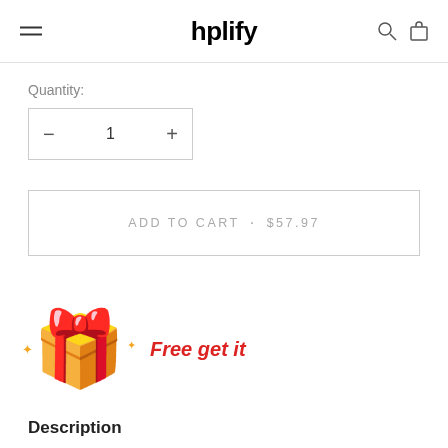hplify
Quantity:
— 1 +
ADD TO CART • $57.97
[Figure (illustration): Red gift box emoji with gold ribbon and sparkle stars on sides]
Free get it
Description